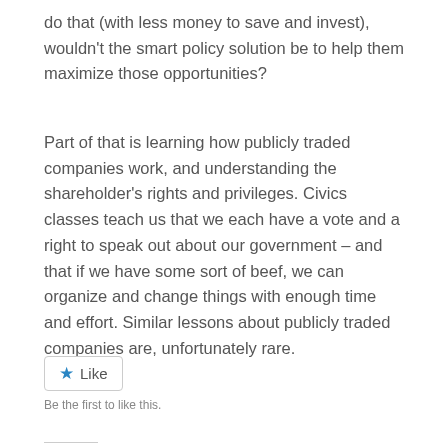do that (with less money to save and invest), wouldn't the smart policy solution be to help them maximize those opportunities?
Part of that is learning how publicly traded companies work, and understanding the shareholder's rights and privileges. Civics classes teach us that we each have a vote and a right to speak out about our government – and that if we have some sort of beef, we can organize and change things with enough time and effort. Similar lessons about publicly traded companies are, unfortunately rare.
[Figure (other): A 'Like' button with a blue star icon and the label 'Like', followed by the text 'Be the first to like this.']